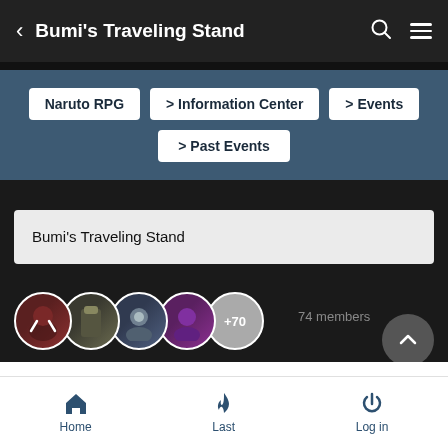< Bumi's Traveling Stand
Naruto RPG
> Information Center
> Events
> Past Events
Bumi's Traveling Stand
[Figure (photo): Row of user avatar profile pictures: 4 avatars plus a gray circle showing +70 more]
74 members
Page 1 of 46
Home  Last  Log in